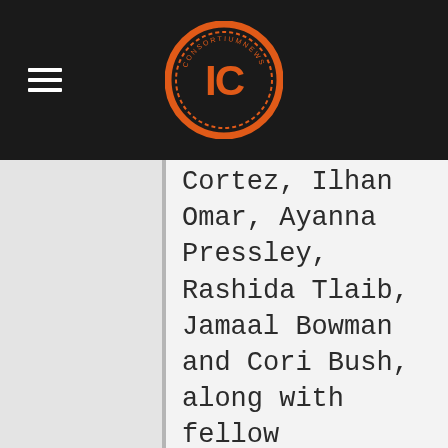IC Logo header with hamburger menu
Cortez, Ilhan Omar, Ayanna Pressley, Rashida Tlaib, Jamaal Bowman and Cori Bush, along with fellow progressives Betty McCollum and Pramila Jayapal, warned House leadership that they would not have their votes if the bill proceeded with the extra $1 billion, according to Congressional aides. This was evidently enough to convince Pelosi and Majority Leader Steny Hoyer to advance the continuing resolution without the aid for Israel.